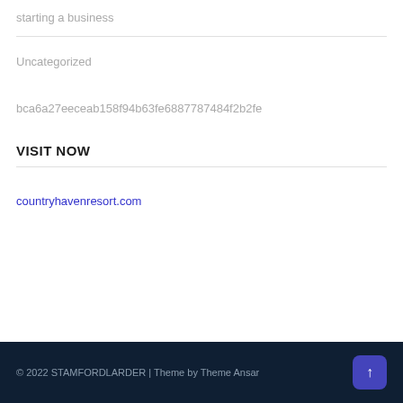starting a business
Uncategorized
bca6a27eeceab158f94b63fe6887787484f2b2fe
VISIT NOW
countryhavenresort.com
© 2022 STAMFORDLARDER | Theme by Theme Ansar